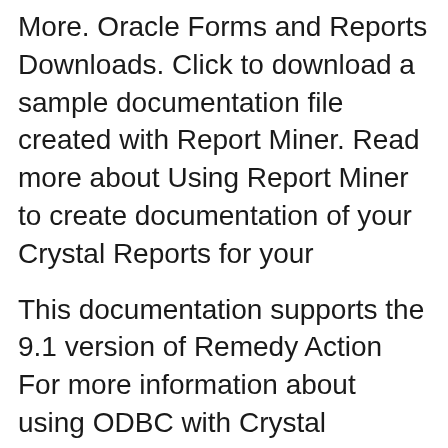More. Oracle Forms and Reports Downloads. Click to download a sample documentation file created with Report Miner. Read more about Using Report Miner to create documentation of your Crystal Reports for your
This documentation supports the 9.1 version of Remedy Action For more information about using ODBC with Crystal Reports, Downloads; Social. Communities; BMC Trusted Windows (PC) download SAP Crystal Reports 2013 viewer 14.1.8.2060. Virus-free and 100% clean download. Get SAP Crystal Reports 2013 viewer alternative downloads.